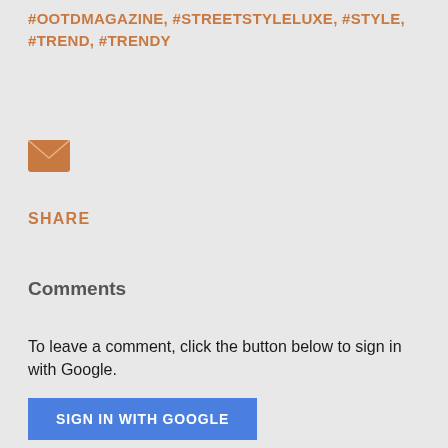#OOTDMAGAZINE, #STREETSTYLELUXE, #STYLE, #TREND, #TRENDY
[Figure (illustration): Orange envelope icon for email sharing]
SHARE
Comments
To leave a comment, click the button below to sign in with Google.
SIGN IN WITH GOOGLE